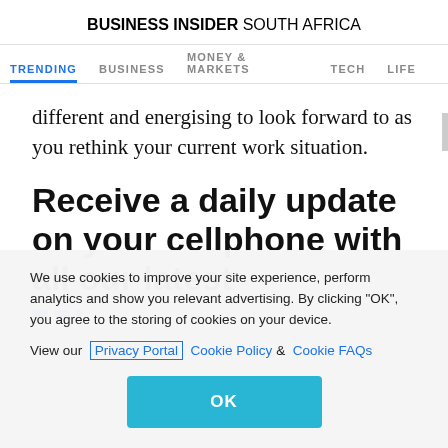BUSINESS INSIDER SOUTH AFRICA
TRENDING  BUSINESS  MONEY & MARKETS  TECH  LIFE
different and energising to look forward to as you rethink your current work situation.
Receive a daily update on your cellphone with all our latest
We use cookies to improve your site experience, perform analytics and show you relevant advertising. By clicking "OK", you agree to the storing of cookies on your device. View our Privacy Portal  Cookie Policy &  Cookie FAQs
OK